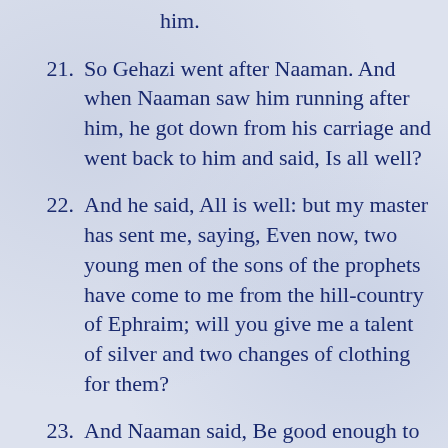him.
21. So Gehazi went after Naaman. And when Naaman saw him running after him, he got down from his carriage and went back to him and said, Is all well?
22. And he said, All is well: but my master has sent me, saying, Even now, two young men of the sons of the prophets have come to me from the hill-country of Ephraim; will you give me a talent of silver and two changes of clothing for them?
23. And Naaman said, Be good enough to